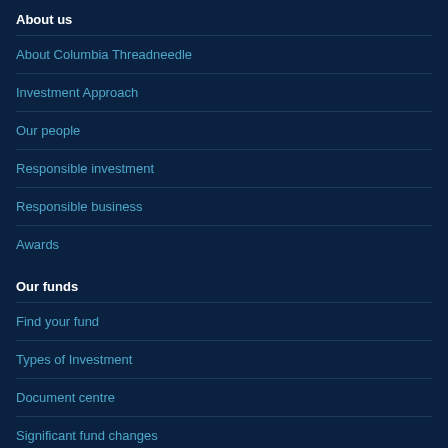About us
About Columbia Threadneedle
Investment Approach
Our people
Responsible investment
Responsible business
Awards
Our funds
Find your fund
Types of Investment
Document centre
Significant fund changes
Changes to international benchmark interest rates